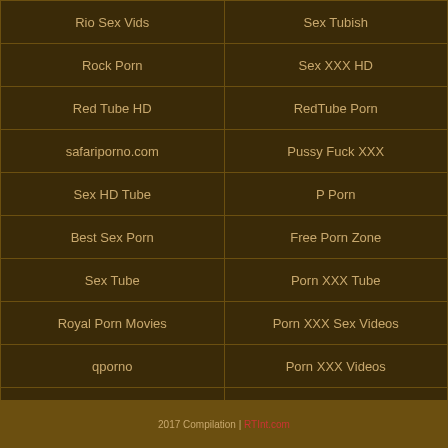| Rio Sex Vids | Sex Tubish |
| Rock Porn | Sex XXX HD |
| Red Tube HD | RedTube Porn |
| safariporno.com | Pussy Fuck XXX |
| Sex HD Tube | P Porn |
| Best Sex Porn | Free Porn Zone |
| Sex Tube | Porn XXX Tube |
| Royal Porn Movies | Porn XXX Sex Videos |
| qporno | Porn XXX Videos |
| Pron Fun | Porn XXX Videos |
| Premium Porn HD | Porn Z |
| XXX Pron Hub | Pussy Holder |
| best movie sex | Free Porn Tube |
2017 Compilation | RTInt.com